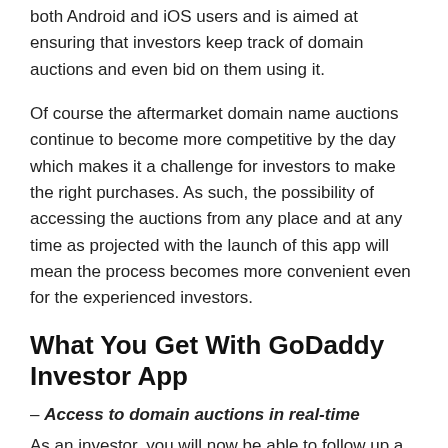both Android and iOS users and is aimed at ensuring that investors keep track of domain auctions and even bid on them using it.
Of course the aftermarket domain name auctions continue to become more competitive by the day which makes it a challenge for investors to make the right purchases. As such, the possibility of accessing the auctions from any place and at any time as projected with the launch of this app will mean the process becomes more convenient even for the experienced investors.
What You Get With GoDaddy Investor App
– Access to domain auctions in real-time
As an investor, you will now be able to follow up a domain name auction for the active expiry domains